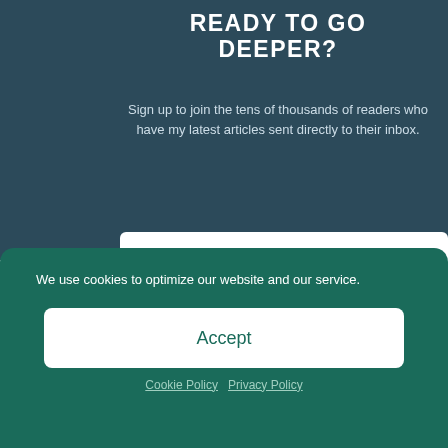READY TO GO DEEPER?
Sign up to join the tens of thousands of readers who have my latest articles sent directly to their inbox.
[Figure (screenshot): Email input field with placeholder text 'Your email address']
[Figure (screenshot): Orange Subscribe button]
5.
We use cookies to optimize our website and our service.
Accept
Cookie Policy   Privacy Policy